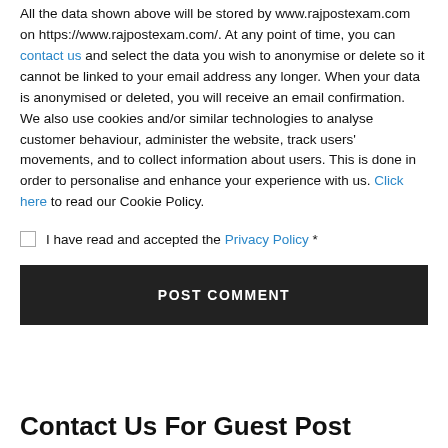All the data shown above will be stored by www.rajpostexam.com on https://www.rajpostexam.com/. At any point of time, you can contact us and select the data you wish to anonymise or delete so it cannot be linked to your email address any longer. When your data is anonymised or deleted, you will receive an email confirmation. We also use cookies and/or similar technologies to analyse customer behaviour, administer the website, track users' movements, and to collect information about users. This is done in order to personalise and enhance your experience with us. Click here to read our Cookie Policy.
I have read and accepted the Privacy Policy *
POST COMMENT
Contact Us For Guest Post